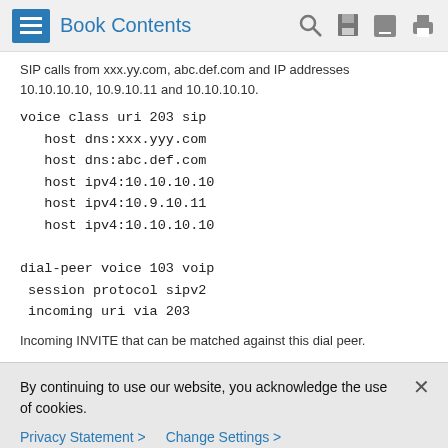Book Contents
SIP calls from xxx.yy.com, abc.def.com and IP addresses 10.10.10.10, 10.9.10.11 and 10.10.10.10.
Incoming INVITE that can be matched against this dial peer.
By continuing to use our website, you acknowledge the use of cookies.
Privacy Statement > Change Settings >